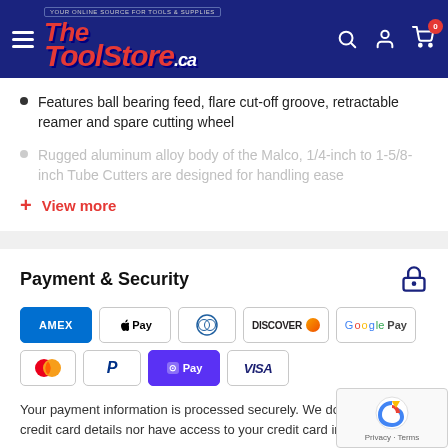The ToolStore .ca — YOUR ONLINE SOURCE FOR TOOLS & SUPPLIES
Features ball bearing feed, flare cut-off groove, retractable reamer and spare cutting wheel
Rugged aluminum alloy body of the Malco, 1/4-inch to 1-5/8-inch Tube Cutters are designed for handling ease
+ View more
Payment & Security
[Figure (logo): Payment method icons: AMEX, Apple Pay, Diners Club, Discover, Google Pay, Mastercard, PayPal, ShopPay, Visa]
Your payment information is processed securely. We do not store credit card details nor have access to your credit card information.